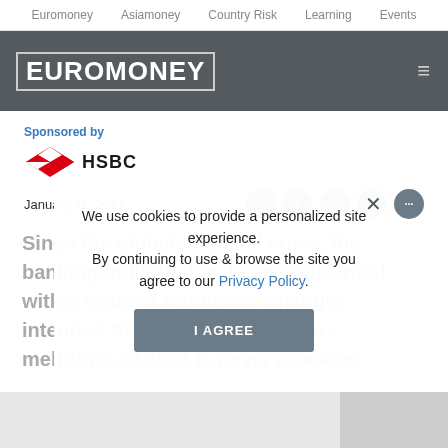Euromoney   Asiamoney   Country Risk   Learning   Events
EUROMONEY
Sponsored by
[Figure (logo): HSBC logo with red hexagon symbol and HSBC text]
January 31, 2017
Since the global financial crisis, the banking industry has been confronted with a wave of regulatory changes intended to ensure that the near-meltdown of 2008 is never repeated.
We use cookies to provide a personalized site experience.
By continuing to use & browse the site you agree to our Privacy Policy.
I AGREE